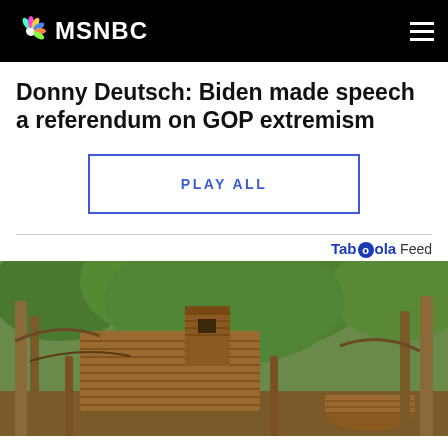MSNBC
Donny Deutsch: Biden made speech a referendum on GOP extremism
PLAY ALL
[Figure (photo): Outdoor wooden structure resembling a small cabin or treehouse surrounded by trees and vegetation]